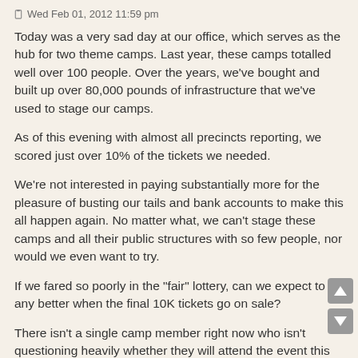Wed Feb 01, 2012 11:59 pm
Today was a very sad day at our office, which serves as the hub for two theme camps. Last year, these camps totalled well over 100 people. Over the years, we've bought and built up over 80,000 pounds of infrastructure that we've used to stage our camps.
As of this evening with almost all precincts reporting, we scored just over 10% of the tickets we needed.
We're not interested in paying substantially more for the pleasure of busting our tails and bank accounts to make this all happen again. No matter what, we can't stage these camps and all their public structures with so few people, nor would we even want to try.
If we fared so poorly in the "fair" lottery, can we expect to do any better when the final 10K tickets go on sale?
There isn't a single camp member right now who isn't questioning heavily whether they will attend the event this year. I hope we're in the minority of theme camps.